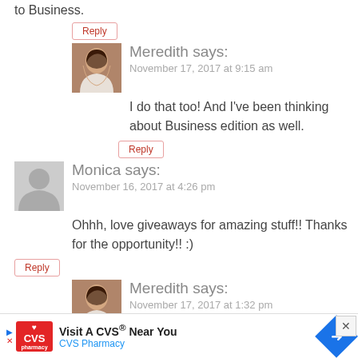to Business.
Reply
[Figure (photo): Profile photo of Meredith, a woman with long brown hair]
Meredith says: November 17, 2017 at 9:15 am
I do that too! And I've been thinking about Business edition as well.
Reply
[Figure (illustration): Generic gray avatar placeholder silhouette]
Monica says: November 16, 2017 at 4:26 pm
Ohhh, love giveaways for amazing stuff!! Thanks for the opportunity!! :)
Reply
[Figure (photo): Profile photo of Meredith, a woman with long brown hair]
Meredith says: November 17, 2017 at 1:32 pm
Visit A CVS® Near You CVS Pharmacy